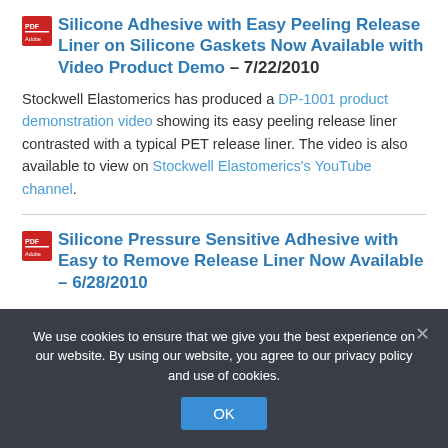Silicone Adhesive with Easy Peeling Release Liner on Silicone Gaskets Now Available with Video Product Demo – 7/22/2010
Stockwell Elastomerics has produced a DP-1001 product demonstration video showing its easy peeling release liner contrasted with a typical PET release liner. The video is also available to view on Stockwell Elastomerics's YouTube channel.
Silicone Pressure Sensitive Adhesive with Easy to Remove Release Liner Now Available – 6/28/2010
We use cookies to ensure that we give you the best experience on our website. By using our website, you agree to our privacy policy and use of cookies.